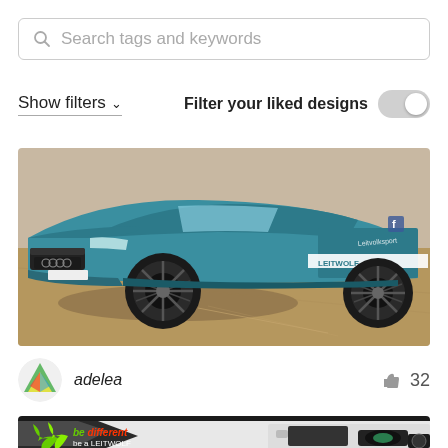Search tags and keywords
Show filters ˅
Filter your liked designs
[Figure (photo): Blue Audi A5 sports car with vinyl wrap graphics, photographed on a gravel surface from a low front-side angle]
adelea
32
[Figure (photo): White van with black and green LEITWOLF vinyl wrap design, text reads 'be different be a LEITWOLF']